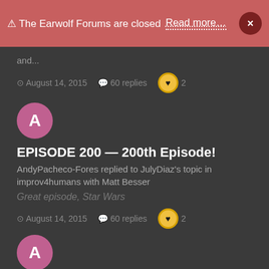⚠ The Earwolf Forums are closed   Read more…   ×
and...
⊙ August 14, 2015   💬 60 replies   ❤ 2
[Figure (other): Pink avatar circle with letter A]
EPISODE 200 — 200th Episode!
AndyPacheco-Fores replied to JulyDiaz's topic in improv4humans with Matt Besser
Great episode, Star Wars
⊙ August 14, 2015   💬 60 replies   ❤ 2
[Figure (other): Pink avatar circle with letter A]
EPISODE 22 - U2 Talk 2 U
AndyPacheco-Fores replied to JulyDiaz's topic in U Talkin' Talking Heads 2 My Talking Head